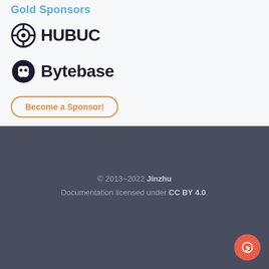Gold Sponsors
[Figure (logo): HUBUC logo with circular target/record icon followed by bold text HUBUC]
[Figure (logo): Bytebase logo with robot/ghost icon followed by bold text Bytebase]
Become a Sponsor!
© 2013~2022 Jinzhu
Documentation licensed under CC BY 4.0.